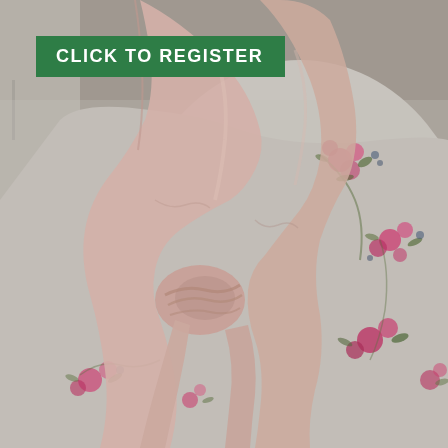[Figure (photo): Close-up photo of a person wearing a floral grey cardigan with pink, red, and blue flowers, and a draped/knotted light pink/blush scarf tied at the waist. Background is a blurred beige/tan wall.]
CLICK TO REGISTER